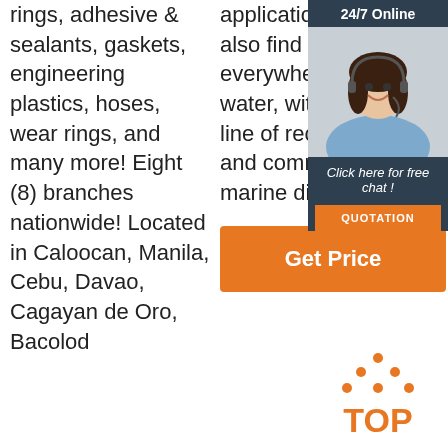rings, adhesive & sealants, gaskets, engineering plastics, hoses, wear rings, and many more! Eight (8) branches nationwide! Located in Caloocan, Manila, Cebu, Davao, Cagayan de Oro, Bacolod
applications. You'll also find us everywhere there's water, with a full line of recreational and commercial marine diesels.
[Figure (photo): 24/7 Online chat advertisement banner with a woman wearing a headset, a 'Click here for free chat!' message, and a QUOTATION button]
Get Price
[Figure (logo): TOP logo with orange dotted triangle above the letters TOP in orange]